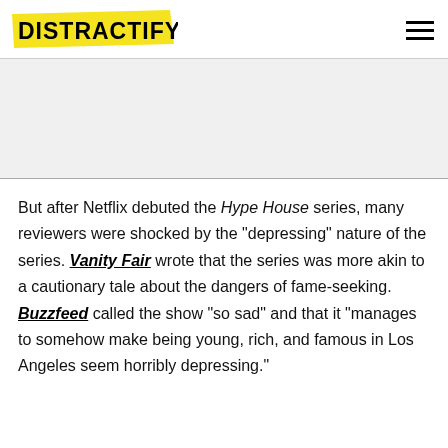DISTRACTIFY
But after Netflix debuted the Hype House series, many reviewers were shocked by the "depressing" nature of the series. Vanity Fair wrote that the series was more akin to a cautionary tale about the dangers of fame-seeking. Buzzfeed called the show "so sad" and that it "manages to somehow make being young, rich, and famous in Los Angeles seem horribly depressing."